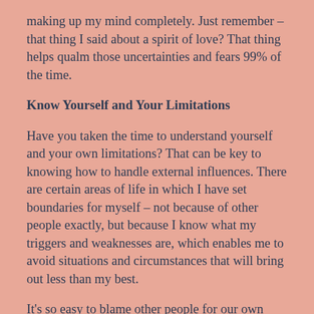making up my mind completely. Just remember – that thing I said about a spirit of love? That thing helps qualm those uncertainties and fears 99% of the time.
Know Yourself and Your Limitations
Have you taken the time to understand yourself and your own limitations? That can be key to knowing how to handle external influences. There are certain areas of life in which I have set boundaries for myself – not because of other people exactly, but because I know what my triggers and weaknesses are, which enables me to avoid situations and circumstances that will bring out less than my best.
It's so easy to blame other people for our own lack of self-control or whatever the